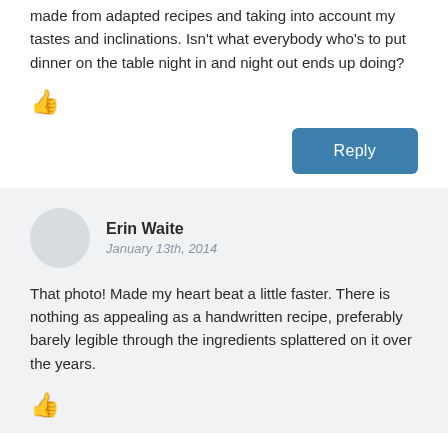made from adapted recipes and taking into account my tastes and inclinations. Isn't what everybody who's to put dinner on the table night in and night out ends up doing?
[Figure (illustration): Thumbs up icon (like button)]
Reply
Erin Waite
January 13th, 2014
That photo! Made my heart beat a little faster. There is nothing as appealing as a handwritten recipe, preferably barely legible through the ingredients splattered on it over the years.
[Figure (illustration): Thumbs up icon (like button)]